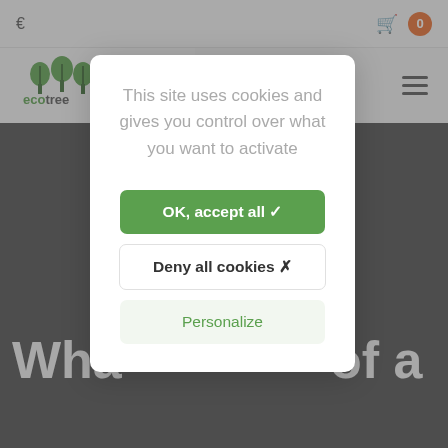[Figure (screenshot): Ecotree website background showing navbar with euro symbol and shopping cart with badge '0', ecotree logo, hamburger menu icon, and a dark hero image with partial white headline text 'Wha... of a']
This site uses cookies and gives you control over what you want to activate
OK, accept all ✓
Deny all cookies ✗
Personalize